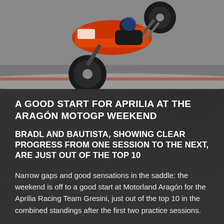[Figure (photo): A MotoGP motorcycle performing a wheelie on a racetrack, orange and black Aprilia bike with front wheel lifted, track visible in background]
A GOOD START FOR APRILIA AT THE ARAGÓN MOTOGP WEEKEND
BRADL AND BAUTISTA, SHOWING CLEAR PROGRESS FROM ONE SESSION TO THE NEXT, ARE JUST OUT OF THE TOP 10
Narrow gaps and good sensations in the saddle: the weekend is off to a good start at Motorland Aragón for the Aprilia Racing Team Gresini, just out of the top 10 in the combined standings after the first two practice sessions.
Stefan Bradl ended the day riding his RS-GP just 869...